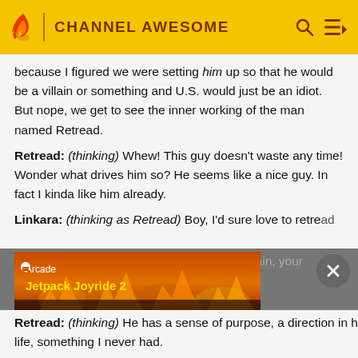CHANNEL AWESOME
because I figured we were setting him up so that he would be a villain or something and U.S. would just be an idiot. But nope, we get to see the inner working of the man named Retread.
Retread: (thinking) Whew! This guy doesn't waste any time! Wonder what drives him so? He seems like a nice guy. In fact I kinda like him already.
Linkara: (thinking as Retread) Boy, I'd sure love to retread him. What the hell does that even mean? Brain, your ability to…
[Figure (screenshot): Apple Arcade advertisement showing Jetpack Joyride 2 game with fiery background]
Retread: (thinking) He has a sense of purpose, a direction in his life, something I never had.